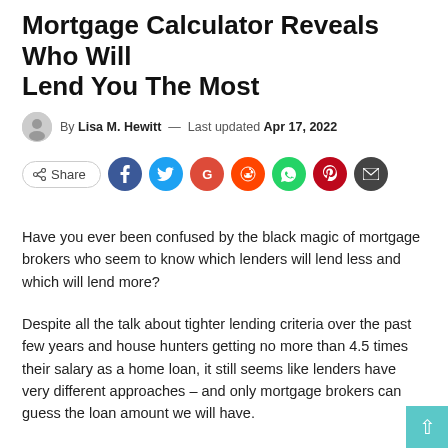Mortgage Calculator Reveals Who Will Lend You The Most
By Lisa M. Hewitt — Last updated Apr 17, 2022
[Figure (infographic): Social share bar with Share button and icons for Facebook, Twitter, Google+, Reddit, WhatsApp, Pinterest, and Email]
Have you ever been confused by the black magic of mortgage brokers who seem to know which lenders will lend less and which will lend more?
Despite all the talk about tighter lending criteria over the past few years and house hunters getting no more than 4.5 times their salary as a home loan, it still seems like lenders have very different approaches – and only mortgage brokers can guess the loan amount we will have.